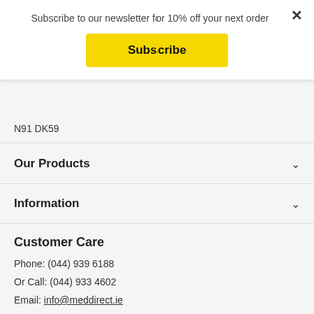Subscribe to our newsletter for 10% off your next order
Subscribe
N91 DK59
Our Products
Information
Customer Care
Phone: (044) 939 6188
Or Call: (044) 933 4602
Email: info@meddirect.ie